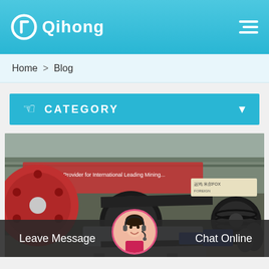[Figure (logo): Qihong company logo with circular icon and text on teal header]
Home > Blog
CATEGORY
[Figure (photo): Industrial machinery photo showing jaw crusher and heavy equipment in a factory/warehouse setting]
Leave Message
Chat Online